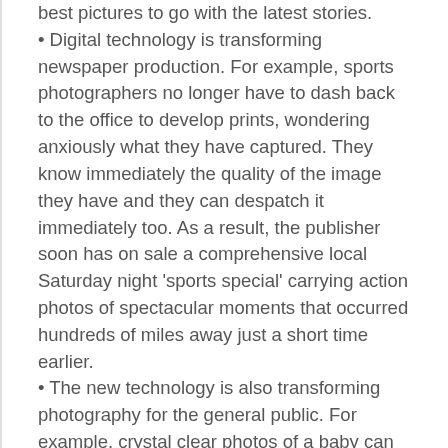best pictures to go with the latest stories.
• Digital technology is transforming newspaper production. For example, sports photographers no longer have to dash back to the office to develop prints, wondering anxiously what they have captured. They know immediately the quality of the image they have and they can despatch it immediately too. As a result, the publisher soon has on sale a comprehensive local Saturday night 'sports special' carrying action photos of spectacular moments that occurred hundreds of miles away just a short time earlier.
• The new technology is also transforming photography for the general public. For example, crystal clear photos of a baby can now be available to proud, anxious grandparents thousands of miles away within a few minutes of an infant's birth.
• Technological advance does have a downside, in that demand for new products affects sales of older ones. As a market, analogue photography has almost reached